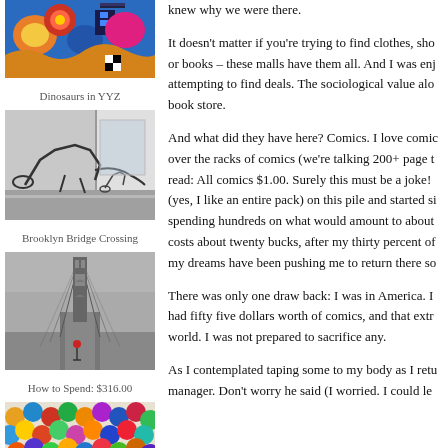[Figure (photo): Colorful graffiti art with fish and abstract shapes]
Dinosaurs in YYZ
[Figure (photo): Dinosaur skeleton sculptures in a large indoor space]
Brooklyn Bridge Crossing
[Figure (photo): Brooklyn Bridge in fog with a person holding a red umbrella]
How to Spend: $316.00
[Figure (photo): Colorful ball pit with many multicolored plastic balls]
knew why we were there.
It doesn't matter if you're trying to find clothes, sho or books – these malls have them all. And I was enj attempting to find deals. The sociological value alo book store.
And what did they have here? Comics. I love comic over the racks of comics (we're talking 200+ page t read: All comics $1.00. Surely this must be a joke! (yes, I like an entire pack) on this pile and started si spending hundreds on what would amount to about costs about twenty bucks, after my thirty percent of my dreams have been pushing me to return there so
There was only one draw back: I was in America. I had fifty five dollars worth of comics, and that extr world. I was not prepared to sacrifice any.
As I contemplated taping some to my body as I retu manager. Don't worry he said (I worried. I could le